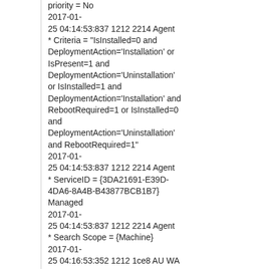priority = No
2017-01-25 04:14:53:837 1212 2214 Agent * Criteria = "IsInstalled=0 and DeploymentAction='Installation' or IsPresent=1 and DeploymentAction='Uninstallation' or IsInstalled=1 and DeploymentAction='Installation' and RebootRequired=1 or IsInstalled=0 and DeploymentAction='Uninstallation' and RebootRequired=1"
2017-01-25 04:14:53:837 1212 2214 Agent * ServiceID = {3DA21691-E39D-4DA6-8A4B-B43877BCB1B7} Managed
2017-01-25 04:14:53:837 1212 2214 Agent * Search Scope = {Machine}
2017-01-25 04:16:53:352 1212 1ce8 AU WA